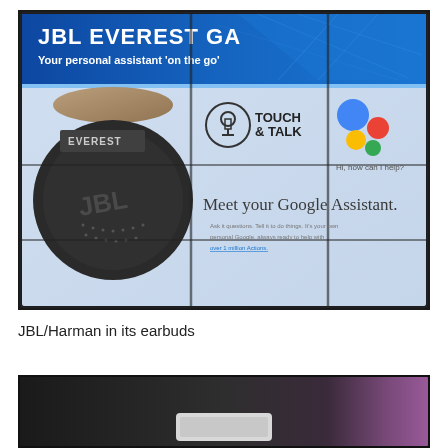[Figure (photo): Photo of a large display screen showing JBL Everest GA headphone advertisement with Google Assistant integration. Screen shows headphone image on left, 'TOUCH & TALK' icon in center-left, Google Assistant colorful dots logo on right, text 'Hi, how can I help?', 'Meet your Google Assistant' heading with supporting text below. Blue gradient header banner at top with product name.]
JBL/Harman in its earbuds
[Figure (photo): Partial photo showing a dark background with what appears to be a white/light colored electronic device (possibly a smart speaker or display) at the bottom center, with a purple/pink glow on the right side.]